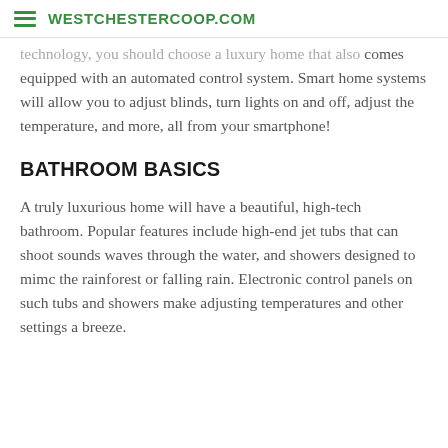WESTCHESTERCOOP.COM
technology, you should choose a luxury home that also comes equipped with an automated control system. Smart home systems will allow you to adjust blinds, turn lights on and off, adjust the temperature, and more, all from your smartphone!
BATHROOM BASICS
A truly luxurious home will have a beautiful, high-tech bathroom. Popular features include high-end jet tubs that can shoot sounds waves through the water, and showers designed to mimc the rainforest or falling rain. Electronic control panels on such tubs and showers make adjusting temperatures and other settings a breeze.